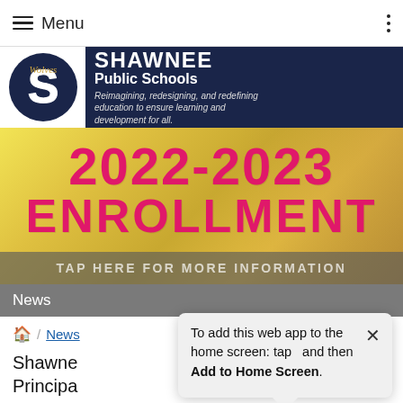Menu
[Figure (logo): Shawnee Public Schools logo with Wolves S emblem on dark navy background. Text: SHAWNEE Public Schools. Tagline: Reimagining, redesigning, and redefining education to ensure learning and development for all.]
[Figure (infographic): 2022-2023 ENROLLMENT banner in large pink/magenta bold text on a colorful background with school supplies. Text at bottom: TAP HERE FOR MORE INFORMATION]
News
/ News
Shawnee Public Schools Principal Director for 2022-2023
To add this web app to the home screen: tap  and then Add to Home Screen.